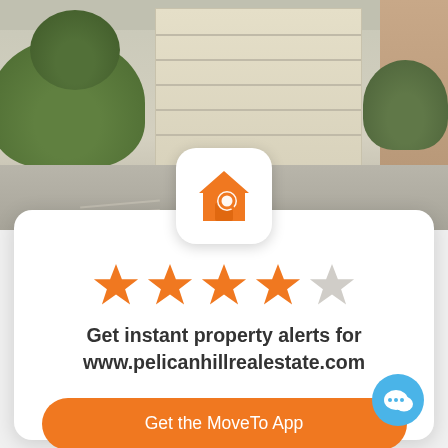[Figure (photo): Exterior photo of a house showing a beige garage door, green shrubs, and driveway]
[Figure (logo): MoveTo app icon: orange house with magnifying glass on white rounded square background]
[Figure (infographic): 4 out of 5 star rating displayed as orange stars with one grey star]
Get instant property alerts for www.pelicanhillrealestate.com
Get the MoveTo App
Not Now